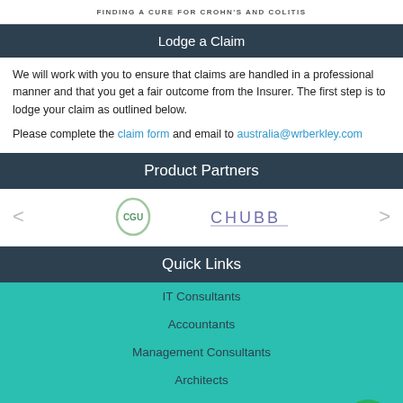FINDING A CURE FOR CROHN'S AND COLITIS
Lodge a Claim
We will work with you to ensure that claims are handled in a professional manner and that you get a fair outcome from the Insurer. The first step is to lodge your claim as outlined below.
Please complete the claim form and email to australia@wrberkley.com
Product Partners
[Figure (logo): CGU and CHUBB product partner logos displayed side by side with navigation arrows]
Quick Links
IT Consultants
Accountants
Management Consultants
Architects
Tax & BAS Agents
SMSF Auditors